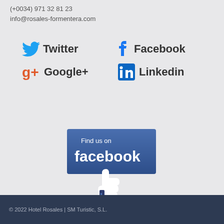(+0034) 971 32 81 23
info@rosales-formentera.com
[Figure (infographic): Social media icons: Twitter, Facebook, Google+, LinkedIn]
[Figure (infographic): Find us on Facebook banner with thumbs up icon]
© 2022 Hotel Rosales | SM Turistic, S.L.